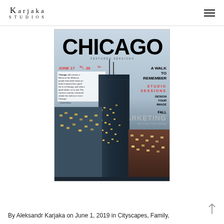Karjaka Studios
[Figure (photo): Magazine cover styled image featuring Chicago skyline with large CHICAGO title text, dated June 17th-20th, with text 'A Walk to Remember', 'Studio Sessions', 'Design Your Image', 'Fall Marketing', and a quote by Harold Ramis about Chicago.]
By Aleksandr Karjaka on June 1, 2019 in Cityscapes, Family,